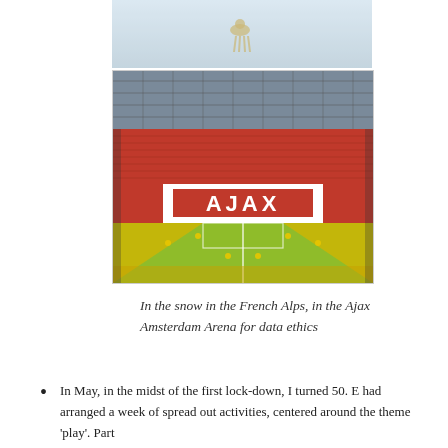[Figure (photo): A small deer or animal in the snow in the French Alps, viewed from above]
[Figure (photo): Interior of the Ajax Amsterdam Arena stadium with red seats and the AJAX logo on the stands, green and yellow pitch visible]
In the snow in the French Alps, in the Ajax Amsterdam Arena for data ethics
In May, in the midst of the first lock-down, I turned 50. E had arranged a week of spread out activities, centered around the theme 'play'. Part